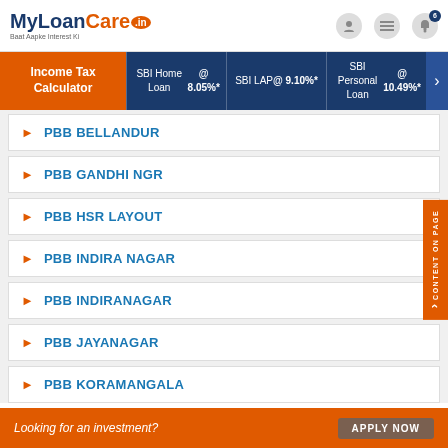MyLoanCare.in - Baat Aapke Interest Ki
[Figure (screenshot): MyLoanCare.in logo with navigation icons (user, menu, notification bell with badge 6)]
Income Tax Calculator | SBI Home Loan @ 8.05%* | SBI LAP @ 9.10%* | SBI Personal Loan @ 10.49%*
PBB BELLANDUR
PBB GANDHI NGR
PBB HSR LAYOUT
PBB INDIRA NAGAR
PBB INDIRANAGAR
PBB JAYANAGAR
PBB KORAMANGALA
Looking for an investment? APPLY NOW